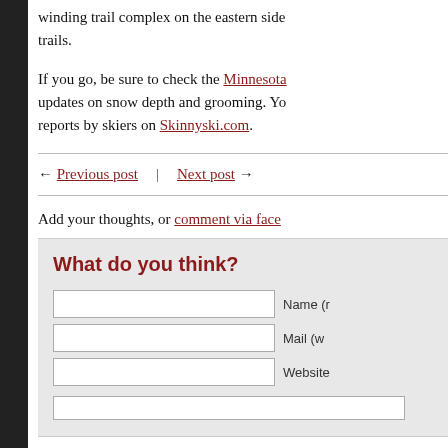winding trail complex on the eastern side trails.
If you go, be sure to check the Minnesota updates on snow depth and grooming. You can also find reports by skiers on Skinnyski.com.
← Previous post | Next post →
Add your thoughts, or comment via face
What do you think?
Name (required field)
Mail (will not be published)
Website